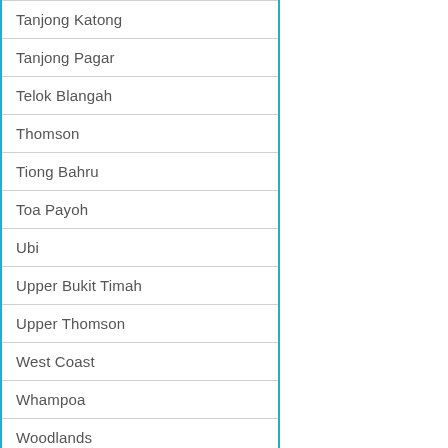| Tanjong Katong |
| Tanjong Pagar |
| Telok Blangah |
| Thomson |
| Tiong Bahru |
| Toa Payoh |
| Ubi |
| Upper Bukit Timah |
| Upper Thomson |
| West Coast |
| Whampoa |
| Woodlands |
| Woodleigh |
| Yew Tee |